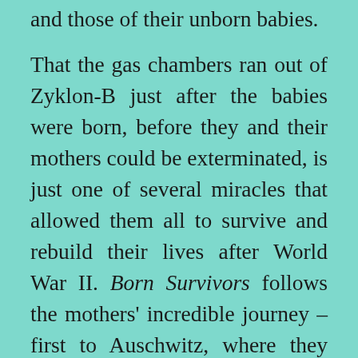and those of their unborn babies. That the gas chambers ran out of Zyklon-B just after the babies were born, before they and their mothers could be exterminated, is just one of several miracles that allowed them all to survive and rebuild their lives after World War II. Born Survivors follows the mothers' incredible journey – first to Auschwitz, where they each came under the murderous scrutiny of Dr. Josef Mengele; then to a German slave labour camp where, half-starved and almost